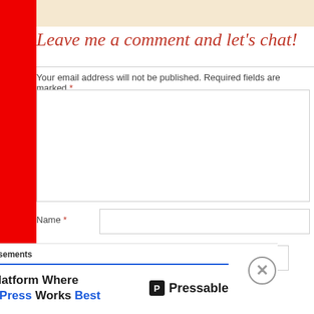[Figure (logo): Blog logo/header image strip at top]
Leave me a comment and let's chat!
Your email address will not be published. Required fields are marked *
[Figure (screenshot): Comment text area input box]
Name *
[Figure (screenshot): Name input field]
Email *
[Figure (screenshot): Email input field]
Advertisements
[Figure (screenshot): Pressable advertisement banner: ThePlatform Where WordPress Works Best]